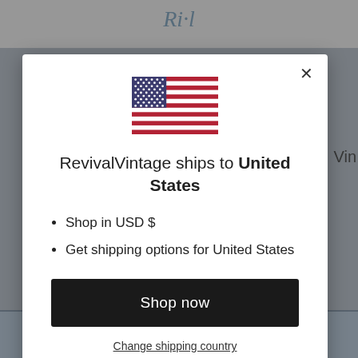[Figure (screenshot): Modal dialog on a retail website (RevivalVintage) showing shipping destination as United States with a US flag, options to shop in USD and get US shipping options, a 'Shop now' button, and a 'Change shipping country' link.]
RevivalVintage ships to United States
Shop in USD $
Get shipping options for United States
Shop now
Change shipping country